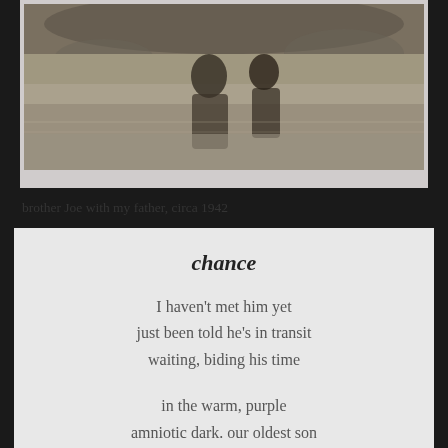[Figure (photo): Black and white photograph of brother Joe with father, circa 1942, showing two people outdoors on grass]
brother Joe with my father, circa 1942
chance
I haven't met him yet
just been told he's in transit
waiting, biding his time

in the warm, purple
amniotic dark. our oldest son
told us that his son is expected